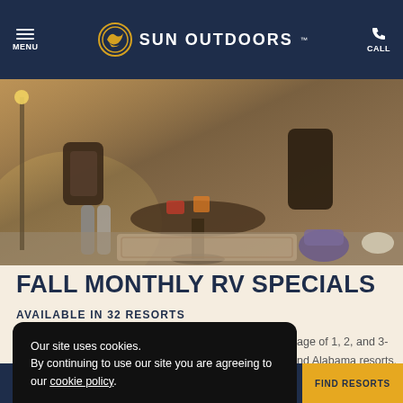MENU | SUN OUTDOORS | CALL
[Figure (photo): Outdoor patio scene with wicker chairs and table, people dining outside in warm sunlight]
FALL MONTHLY RV SPECIALS
AVAILABLE IN 32 RESORTS
Our site uses cookies. By continuing to use our site you are agreeing to our cookie policy. ACCEPT & CLOSE
age of 1, 2, and 3- nd Alabama resorts. ember to save even
VIEW DETAILS
OFFERS | WAYS TO STAY | EXPERIENCES | FIND RESORTS